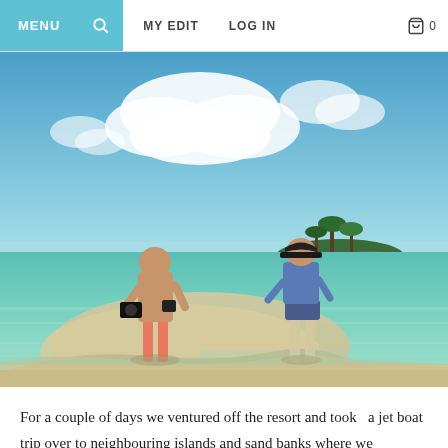MENU | [search icon] | MY EDIT | LOG IN | [cart] 0
[Figure (photo): Two people standing on a shallow sandbar surrounded by turquoise clear water. One person wearing red shorts is photographing the other person who is wearing a blue outfit and cap. A small palm-tree-covered island is visible in the background under a blue sky with white clouds.]
For a couple of days we ventured off the resort and took  a jet boat trip over to neighbouring islands and sand banks where we explored